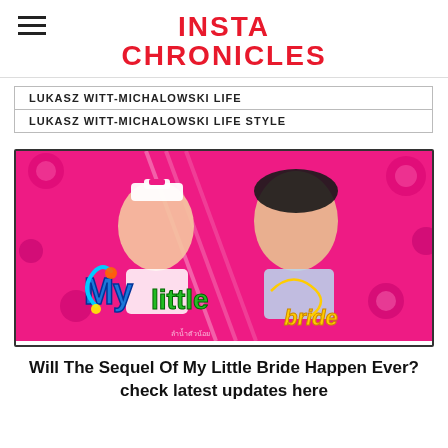INSTA CHRONICLES
LUKASZ WITT-MICHALOWSKI LIFE
LUKASZ WITT-MICHALOWSKI LIFE STYLE
[Figure (photo): Promotional poster for Korean film 'My Little Bride' showing two young actors on a bright pink floral background with colorful logo text 'My little bride']
Will The Sequel Of My Little Bride Happen Ever? check latest updates here